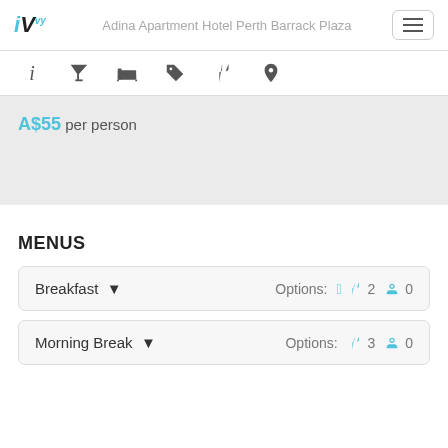iVvy — Adina Apartment Hotel Perth Barrack Plaza
A$55 per person
MENUS
Breakfast — Options: 2 food, 0 drink
Morning Break — Options: 3 food, 0 drink